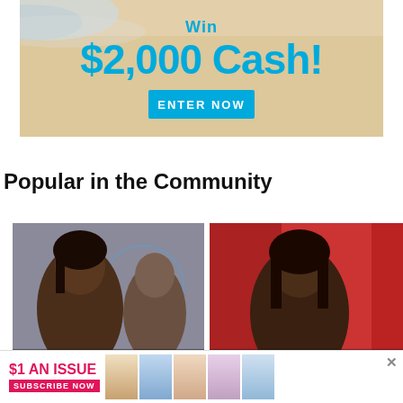[Figure (infographic): Promotional banner ad with beach background: 'Win $2,000 Cash!' with 'ENTER NOW' blue button]
Popular in the Community
[Figure (photo): Community card: photo of a woman with braided hair and a man in background, caption: 'Chantel Reveals How She's']
[Figure (photo): Community card: photo of a woman with long hair against red background, caption: 'The Family Chantel']
[Figure (infographic): Bottom advertisement banner: '$1 AN ISSUE — SUBSCRIBE NOW' with US Weekly magazine covers]